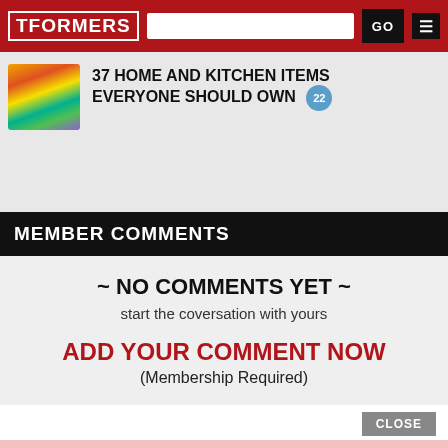TFORMERS
[Figure (illustration): Advertisement banner: 37 Home and Kitchen Items Everyone Should Own with product image and badge showing 22]
MEMBER COMMENTS
~ NO COMMENTS YET ~
start the coversation with yours
ADD YOUR COMMENT NOW
(Membership Required)
CLOSE
Online Transformers Shopping